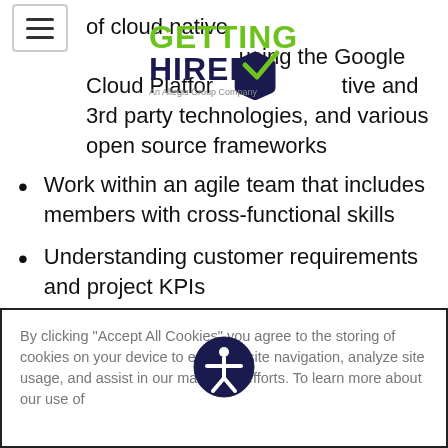[Figure (logo): Getting Hired logo with green text and checkmark, An Allegis Group Company tagline]
of cloud native using the Google Cloud Platform, native and 3rd party technologies, and various open source frameworks
Work within an agile team that includes members with cross-functional skills
Understanding customer requirements and project KPIs
Implementing various development, testing, automation tools, and IT infrastructure
Setting up tools and required infrastructure
Defining and setting development, test, release, update, and support processes for
By clicking “Accept All Cookies” you agree to the storing of cookies on your device to enhance site navigation, analyze site usage, and assist in our marketing efforts. To learn more about our use of